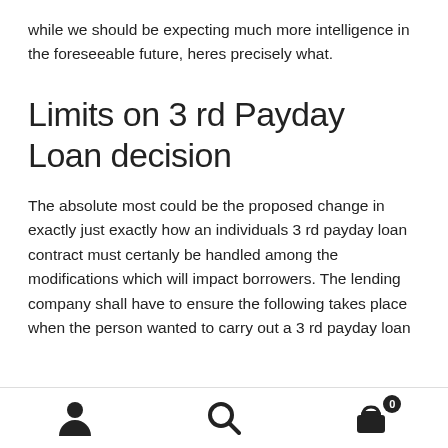while we should be expecting much more intelligence in the foreseeable future, heres precisely what.
Limits on 3 rd Payday Loan decision
The absolute most could be the proposed change in exactly just exactly how an individuals 3 rd payday loan contract must certanly be handled among the modifications which will impact borrowers. The lending company shall have to ensure the following takes place when the person wanted to carry out a 3 rd payday loan
navigation icons: user, search, cart (0)